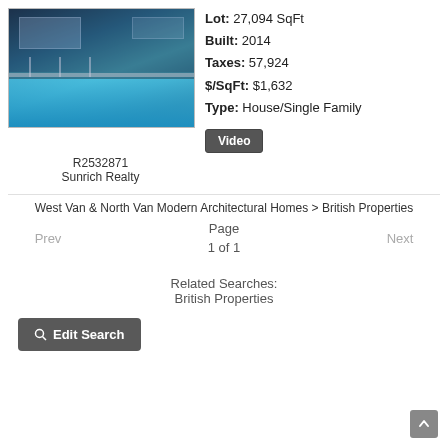[Figure (photo): Luxury modern home with pool and outdoor deck area, blue water, evening/night lighting]
R2532871
Sunrich Realty
Lot: 27,094 SqFt
Built: 2014
Taxes: 57,924
$/SqFt: $1,632
Type: House/Single Family
Video
West Van & North Van Modern Architectural Homes > British Properties
Prev
Page
1 of 1
Next
Related Searches:
British Properties
Edit Search